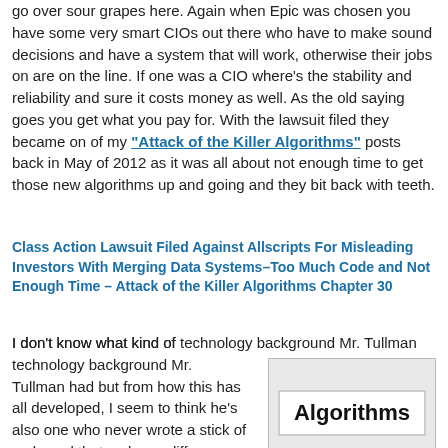go over sour grapes here. Again when Epic was chosen you have some very smart CIOs out there who have to make sound decisions and have a system that will work, otherwise their jobs on are on the line. If one was a CIO where's the stability and reliability and sure it costs money as well. As the old saying goes you get what you pay for. With the lawsuit filed they became on of my "Attack of the Killer Algorithms" posts back in May of 2012 as it was all about not enough time to get those new algorithms up and going and they bit back with teeth.
Class Action Lawsuit Filed Against Allscripts For Misleading Investors With Merging Data Systems–Too Much Code and Not Enough Time – Attack of the Killer Algorithms Chapter 30
I don't know what kind of technology background Mr. Tullman had but from how this has all developed, I seem to think he's also one who never wrote a stick of code and that makes a difference, so compare him to CEO Judy at Epic who wrote the original
[Figure (illustration): Image showing the word 'Algorithms' in bold text on a white button/badge with a gray background]